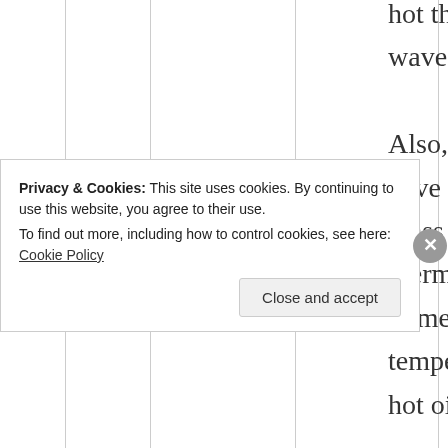hot this heat wave is! Also, if you have used a glass thermometer to measure the temperature of hot oil,
Privacy & Cookies: This site uses cookies. By continuing to use this website, you agree to their use.
To find out more, including how to control cookies, see here: Cookie Policy
Close and accept